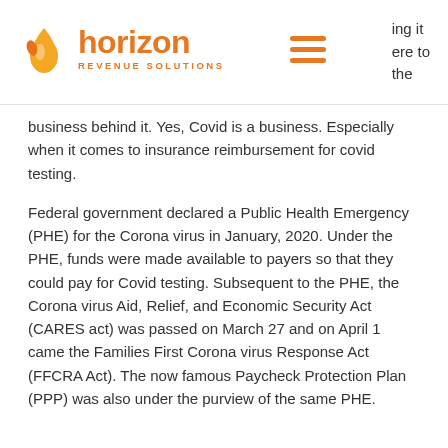Horizon Revenue Solutions
business behind it. Yes, Covid is a business. Especially when it comes to insurance reimbursement for covid testing.
Federal government declared a Public Health Emergency (PHE) for the Corona virus in January, 2020. Under the PHE, funds were made available to payers so that they could pay for Covid testing. Subsequent to the PHE, the Corona virus Aid, Relief, and Economic Security Act (CARES act) was passed on March 27 and on April 1 came the Families First Corona virus Response Act (FFCRA Act). The now famous Paycheck Protection Plan (PPP) was also under the purview of the same PHE.